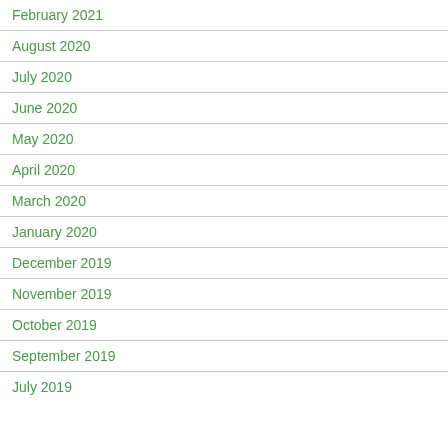February 2021
August 2020
July 2020
June 2020
May 2020
April 2020
March 2020
January 2020
December 2019
November 2019
October 2019
September 2019
July 2019